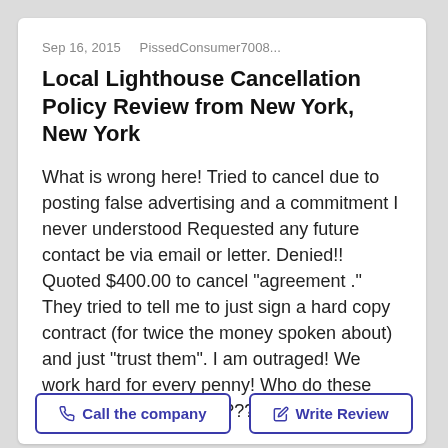Sep 16, 2015    PissedConsumer7008...
Local Lighthouse Cancellation Policy Review from New York, New York
What is wrong here! Tried to cancel due to posting false advertising and a commitment I never understood Requested any future contact be via email or letter. Denied!! Quoted $400.00 to cancel "agreement ." They tried to tell me to just sign a hard copy contract (for twice the money spoken about) and just "trust them". I am outraged! We work hard for every penny! Who do these people think they are!!!???
Call the company
Write Review